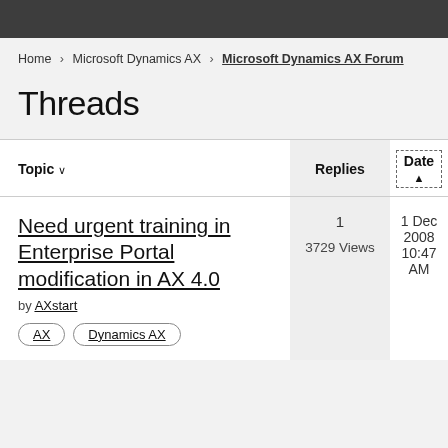Home > Microsoft Dynamics AX > Microsoft Dynamics AX Forum
Threads
| Topic | Replies | Date |
| --- | --- | --- |
| Need urgent training in Enterprise Portal modification in AX 4.0 by AXstart [AX] [Dynamics AX] | 1
3729 Views | 1 Dec 2008
10:47 AM |